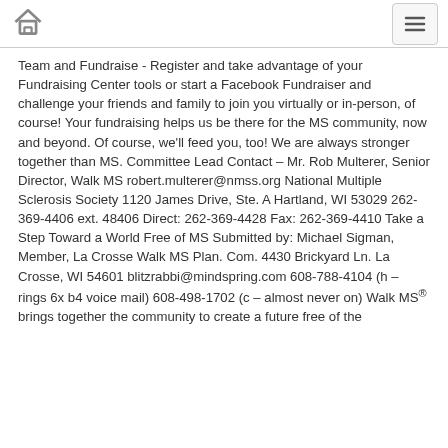Home / Menu
Team and Fundraise - Register and take advantage of your Fundraising Center tools or start a Facebook Fundraiser and challenge your friends and family to join you virtually or in-person, of course! Your fundraising helps us be there for the MS community, now and beyond. Of course, we'll feed you, too! We are always stronger together than MS. Committee Lead Contact – Mr. Rob Multerer, Senior Director, Walk MS robert.multerer@nmss.org National Multiple Sclerosis Society 1120 James Drive, Ste. A Hartland, WI 53029 262-369-4406 ext. 48406 Direct: 262-369-4428 Fax: 262-369-4410 Take a Step Toward a World Free of MS Submitted by: Michael Sigman, Member, La Crosse Walk MS Plan. Com. 4430 Brickyard Ln. La Crosse, WI 54601 blitzrabbi@mindspring.com 608-788-4104 (h – rings 6x b4 voice mail) 608-498-1702 (c – almost never on) Walk MS® brings together the community to create a future free of the...